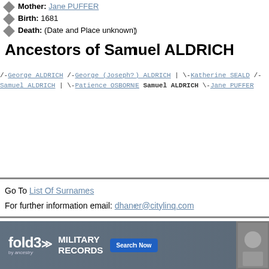Mother: Jane PUFFER
Birth: 1681
Death: (Date and Place unknown)
Ancestors of Samuel ALDRICH
[Figure (other): Genealogical ancestor tree for Samuel ALDRICH showing: /-George ALDRICH, /-George (Joseph?) ALDRICH, | \-Katherine SEALD, /-Samuel ALDRICH, | \-Patience OSBORNE, Samuel ALDRICH (bold), \-Jane PUFFER]
Go To List Of Surnames
For further information email: dhaner@citylinq.com
[Figure (infographic): fold3 Military Records advertisement banner with Search Now button]